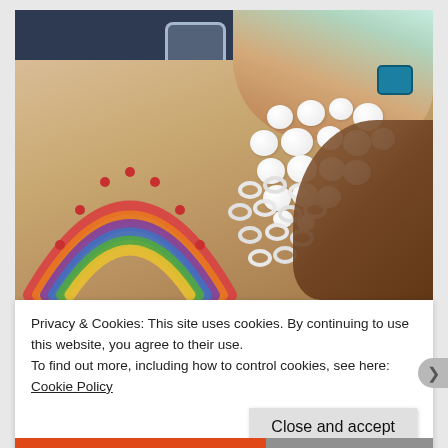[Figure (photo): A child's hand wearing a teal watch arranging white cotton balls next to a rainbow made of colorful cereal loops (Fruit Loops) on a wooden table. A clear glass is visible in the background on a dark blue surface.]
Privacy & Cookies: This site uses cookies. By continuing to use this website, you agree to their use.
To find out more, including how to control cookies, see here: Cookie Policy
Close and accept